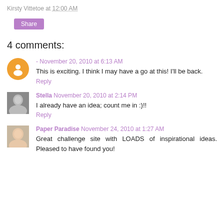Kirsty Vittetoe at 12:00 AM
Share
4 comments:
- November 20, 2010 at 6:13 AM
This is exciting. I think I may have a go at this! I'll be back.
Reply
Stella November 20, 2010 at 2:14 PM
I already have an idea; count me in :)!!
Reply
Paper Paradise November 24, 2010 at 1:27 AM
Great challenge site with LOADS of inspirational ideas. Pleased to have found you!